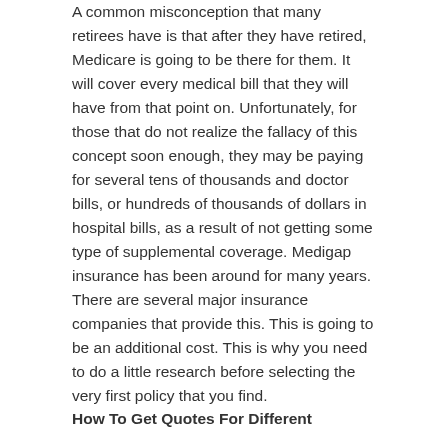A common misconception that many retirees have is that after they have retired, Medicare is going to be there for them. It will cover every medical bill that they will have from that point on. Unfortunately, for those that do not realize the fallacy of this concept soon enough, they may be paying for several tens of thousands and doctor bills, or hundreds of thousands of dollars in hospital bills, as a result of not getting some type of supplemental coverage. Medigap insurance has been around for many years. There are several major insurance companies that provide this. This is going to be an additional cost. This is why you need to do a little research before selecting the very first policy that you find.
How To Get Quotes For Different